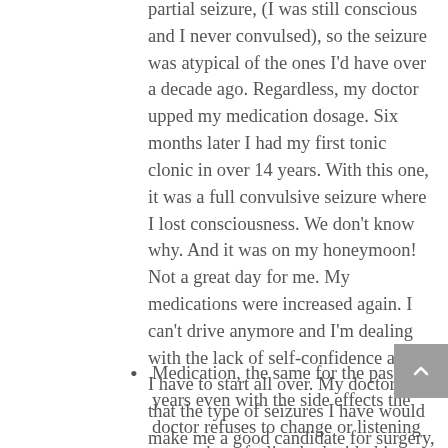partial seizure, (I was still conscious and I never convulsed), so the seizure was atypical of the ones I'd have over a decade ago. Regardless, my doctor upped my medication dosage. Six months later I had my first tonic clonic in over 14 years. With this one, it was a full convulsive seizure where I lost consciousness. We don't know why. And it was on my honeymoon! Not a great day for me. My medications were increased again. I can't drive anymore and I'm dealing with the lack of self-confidence again. I have to start all over. My doctor says that the type of seizures I have would make me a good candidate for surgery, but I don't have enough of them that it's worth the risk to me right now. I haven't had any surgeries. I'm just waiting it out to see what happens next. (Heather H., 33 years old)
Medication, the same for the past 22 years even with the side effects the doctor refuses to change or listening to me about feeling bad with this. (Júlio R...